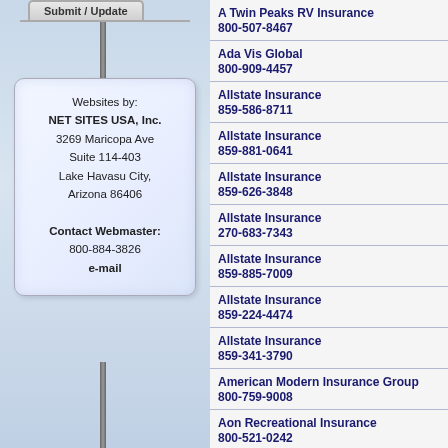Submit / Update
Websites by:
NET SITES USA, Inc.
3269 Maricopa Ave
Suite 114-403
Lake Havasu City,
Arizona 86406

Contact Webmaster:
800-884-3826
e-mail
A Twin Peaks RV Insurance
800-507-8467
Ada Vis Global
800-909-4457
Allstate Insurance
859-586-8711
Allstate Insurance
859-881-0641
Allstate Insurance
859-626-3848
Allstate Insurance
270-683-7343
Allstate Insurance
859-885-7009
Allstate Insurance
859-224-4474
Allstate Insurance
859-341-3790
American Modern Insurance Group
800-759-9008
Aon Recreational Insurance
800-521-0242